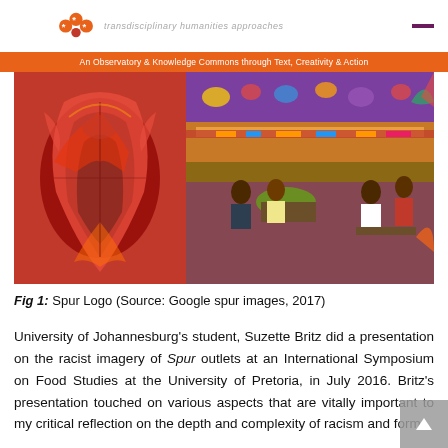transdisciplinary humanities approaches
An Observatory & Knowledge Commons through Text, Creativity & Action
[Figure (photo): Two photos side by side: left shows a red and black Native American/Spur style decorative figure/logo mural; right shows the interior of a Spur restaurant with customers seated, decorative lights, and signage visible.]
Fig 1: Spur Logo (Source: Google spur images, 2017)
University of Johannesburg's student, Suzette Britz did a presentation on the racist imagery of Spur outlets at an International Symposium on Food Studies at the University of Pretoria, in July 2016. Britz's presentation touched on various aspects that are vitally important to my critical reflection on the depth and complexity of racism and forms